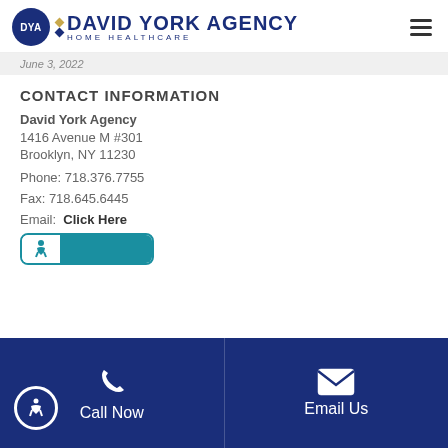DYA David York Agency Home Healthcare
June 3, 2022
CONTACT INFORMATION
David York Agency
1416 Avenue M #301
Brooklyn, NY 11230

Phone: 718.376.7755

Fax: 718.645.6445

Email: Click Here
[Figure (logo): Accessibility banner with teal background, partially visible]
Call Now   Email Us